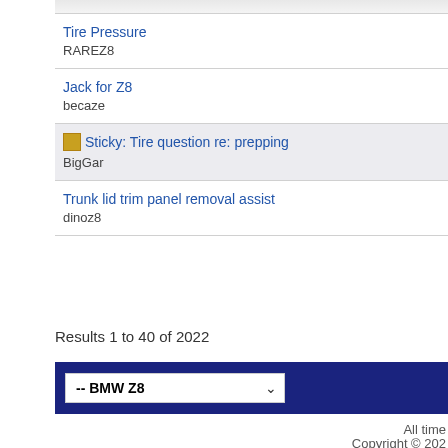Tire Pressure
RAREZ8
Jack for Z8
becaze
Sticky: Tire question re: prepping...
BigGar
Trunk lid trim panel removal assist...
dinoz8
Results 1 to 40 of 2022
-- BMW Z8
All time...
Copyright © 2023
Garage Plus v...